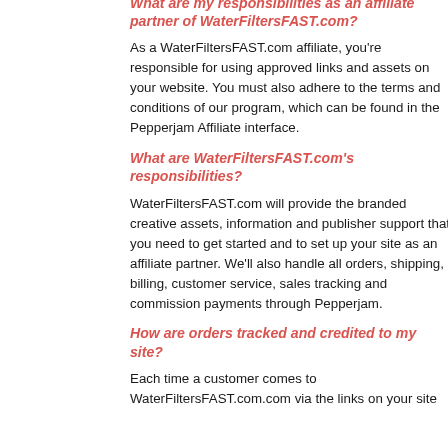What are my responsibilities as an affiliate partner of WaterFiltersFAST.com?
As a WaterFiltersFAST.com affiliate, you're responsible for using approved links and assets on your website. You must also adhere to the terms and conditions of our program, which can be found in the Pepperjam Affiliate interface.
What are WaterFiltersFAST.com's responsibilities?
WaterFiltersFAST.com will provide the branded creative assets, information and publisher support that you need to get started and to set up your site as an affiliate partner. We'll also handle all orders, shipping, billing, customer service, sales tracking and commission payments through Pepperjam.
How are orders tracked and credited to my site?
Each time a customer comes to WaterFiltersFAST.com.com via the links on your site